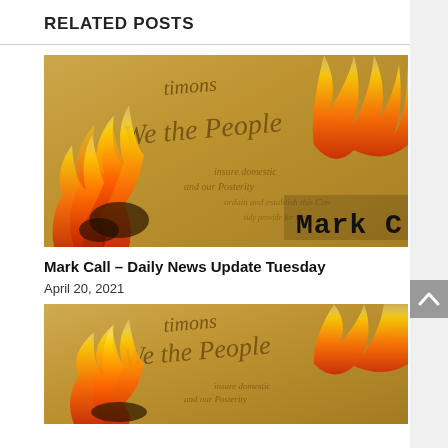RELATED POSTS
[Figure (photo): A burning US Constitution document with the text 'Mark C' visible in the bottom-right corner, flames engulfing old parchment paper with cursive text 'timons' and 'We the People' visible.]
Mark Call – Daily News Update Tuesday
April 20, 2021
[Figure (photo): A second burning US Constitution document image, similar to the first — flames, old parchment, cursive text 'timons' and 'We the People' visible, partially cropped at the bottom.]